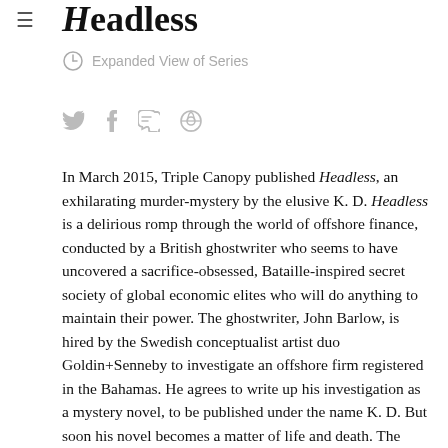Headless
Expanded View of Series
In March 2015, Triple Canopy published Headless, an exhilarating murder-mystery by the elusive K. D. Headless is a delirious romp through the world of offshore finance, conducted by a British ghostwriter who seems to have uncovered a sacrifice-obsessed, Bataille-inspired secret society of global economic elites who will do anything to maintain their power. The ghostwriter, John Barlow, is hired by the Swedish conceptualist artist duo Goldin+Senneby to investigate an offshore firm registered in the Bahamas. He agrees to write up his investigation as a mystery novel, to be published under the name K. D. But soon his novel becomes a matter of life and death. The more he struggles to grasp the plot, the further he slips into the dark world of covert capitalism. Before and after the release of Headless, Triple Canopy published essays and